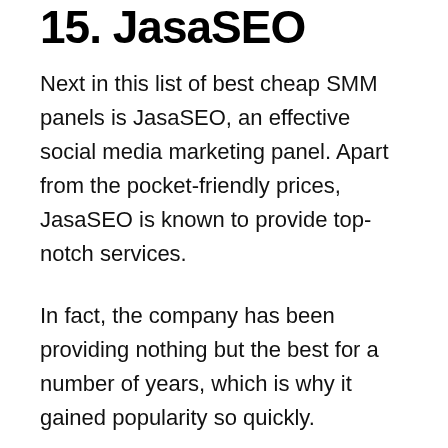15. JasaSEO
Next in this list of best cheap SMM panels is JasaSEO, an effective social media marketing panel. Apart from the pocket-friendly prices, JasaSEO is known to provide top-notch services.
In fact, the company has been providing nothing but the best for a number of years, which is why it gained popularity so quickly.
JasaSEO provides some of the best services for a wide range of social media platforms, thereby making it a versatile SMM panel.
Whether you want to increase views, followers,